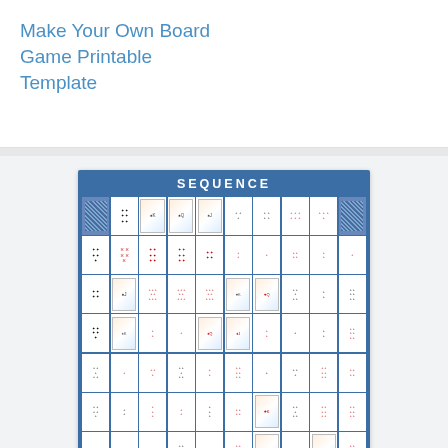Make Your Own Board Game Printable Template
[Figure (other): Sequence board game printable showing a 10x10 grid of playing cards with a blue header reading SEQUENCE]
Sequence Board Game Printable